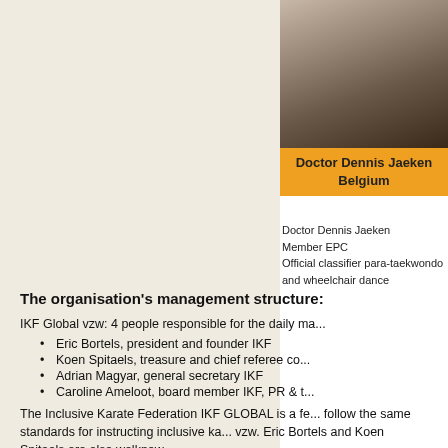[Figure (photo): Photo of Doctor Dennis Jaeken, an elderly man with white hair]
Doctor Dennis Jaeken
Belgium
Doctor Dennis Jaeken
Member EPC
Official classifier para-taekwondo and wheelchair dance
The organisation's management structure:
IKF Global vzw: 4 people responsible for the daily ma...
Eric Bortels, president and founder IKF
Koen Spitaels, treasure and chief referee co...
Adrian Magyar, general secretary IKF
Caroline Ameloot, board member IKF, PR & t...
The Inclusive Karate Federation IKF GLOBAL is a fe... follow the same standards for instructing inclusive ka... vzw. Eric Bortels and Koen Spitaels are also welknow...
Eric Bortels, 6th dan Shotokan, founder & se...